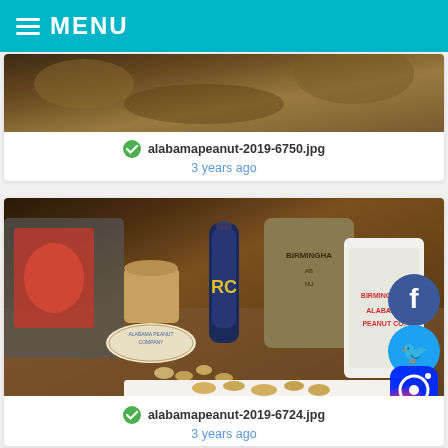MENU
[Figure (photo): Partial view of a peanut-related food product photo, cropped at top]
alabamapeanut-2019-6750.jpg
3 years ago
[Figure (photo): Photo of Alabama Peanut Company products including a burlap sack labeled Birmingham, an RC Cola bottle, a round tin labeled Alabama Peanut Company, a white bag labeled Birmingham Alabama Peanut Co, and peanuts scattered on a wooden surface with a white tray of peanuts in the foreground. Social media icons for Facebook, Twitter, and Instagram visible on the right.]
alabamapeanut-2019-6724.jpg
3 years ago